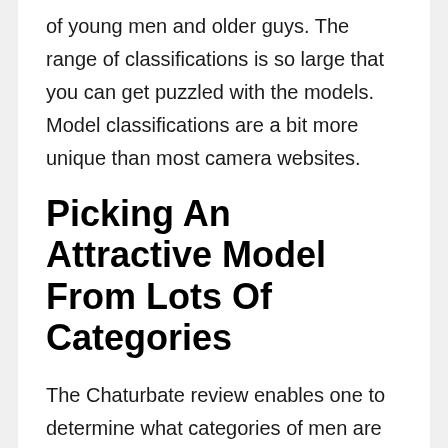of young men and older guys. The range of classifications is so large that you can get puzzled with the models. Model classifications are a bit more unique than most camera websites.
Picking An Attractive Model From Lots Of Categories
The Chaturbate review enables one to determine what categories of men are on the website beforehand. Models are